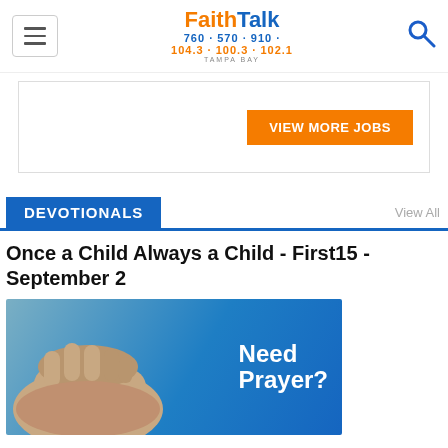[Figure (logo): FaithTalk logo with frequencies 760 570 910 and 104.3 100.3 102.1, Tampa Bay]
[Figure (screenshot): VIEW MORE JOBS orange button banner advertisement]
DEVOTIONALS
View All
Once a Child Always a Child - First15 - September 2
[Figure (photo): Hands clasped in prayer on blue background with text 'Need Prayer?']